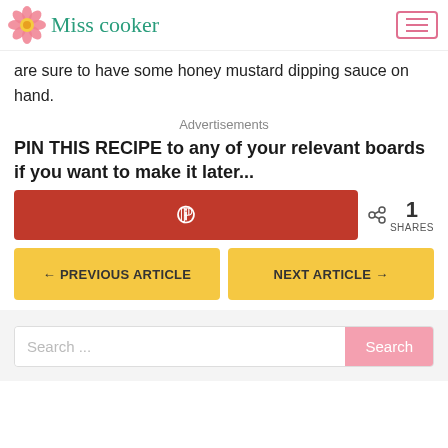Miss cooker
are sure to have some honey mustard dipping sauce on hand.
Advertisements
PIN THIS RECIPE to any of your relevant boards if you want to make it later...
[Figure (other): Pinterest share button (red) with Pinterest logo, and share count showing 1 SHARES]
← PREVIOUS ARTICLE    NEXT ARTICLE →
Search ...